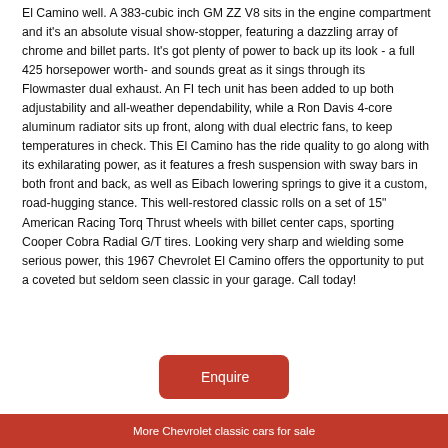El Camino well. A 383-cubic inch GM ZZ V8 sits in the engine compartment and it's an absolute visual show-stopper, featuring a dazzling array of chrome and billet parts. It's got plenty of power to back up its look - a full 425 horsepower worth- and sounds great as it sings through its Flowmaster dual exhaust. An FI tech unit has been added to up both adjustability and all-weather dependability, while a Ron Davis 4-core aluminum radiator sits up front, along with dual electric fans, to keep temperatures in check. This El Camino has the ride quality to go along with its exhilarating power, as it features a fresh suspension with sway bars in both front and back, as well as Eibach lowering springs to give it a custom, road-hugging stance. This well-restored classic rolls on a set of 15" American Racing Torq Thrust wheels with billet center caps, sporting Cooper Cobra Radial G/T tires. Looking very sharp and wielding some serious power, this 1967 Chevrolet El Camino offers the opportunity to put a coveted but seldom seen classic in your garage. Call today!
[Figure (other): Red rounded rectangle button labeled 'Enquire']
More Chevrolet classic cars for sale